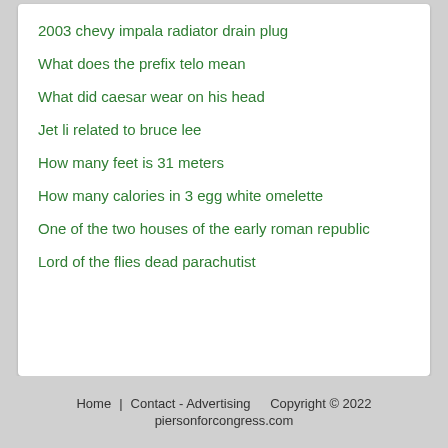2003 chevy impala radiator drain plug
What does the prefix telo mean
What did caesar wear on his head
Jet li related to bruce lee
How many feet is 31 meters
How many calories in 3 egg white omelette
One of the two houses of the early roman republic
Lord of the flies dead parachutist
Home    Contact - Advertising    Copyright © 2022 piersonforcongress.com